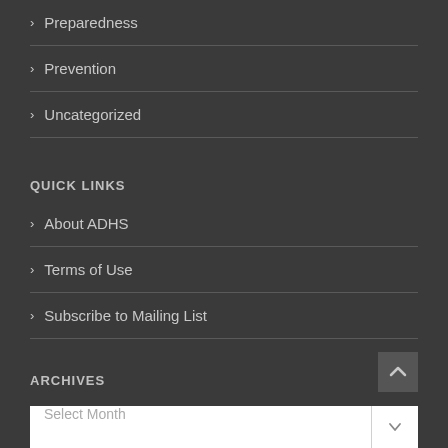Preparedness
Prevention
Uncategorized
QUICK LINKS
About ADHS
Terms of Use
Subscribe to Mailing List
ARCHIVES
Select Month